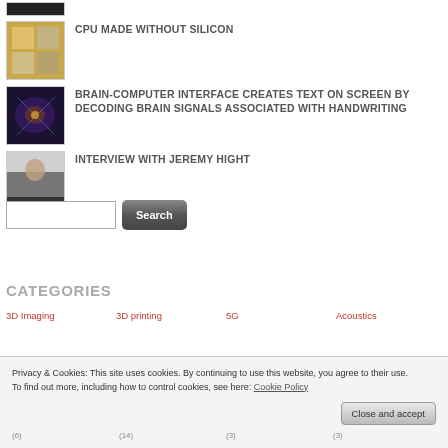CPU MADE WITHOUT SILICON
BRAIN-COMPUTER INTERFACE CREATES TEXT ON SCREEN BY DECODING BRAIN SIGNALS ASSOCIATED WITH HANDWRITING
INTERVIEW WITH JEREMY HIGHT
Search
CATEGORIES
3D Imaging
3D printing
5G
Acoustics
Privacy & Cookies: This site uses cookies. By continuing to use this website, you agree to their use. To find out more, including how to control cookies, see here: Cookie Policy
Close and accept